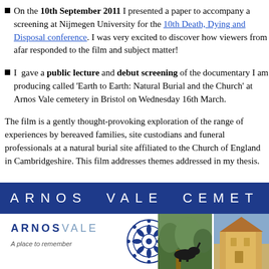On the 10th September 2011 I presented a paper to accompany a screening at Nijmegen University for the 10th Death, Dying and Disposal conference. I was very excited to discover how viewers from afar responded to the film and subject matter!
I gave a public lecture and debut screening of the documentary I am producing called 'Earth to Earth: Natural Burial and the Church' at Arnos Vale cemetery in Bristol on Wednesday 16th March.
The film is a gently thought-provoking exploration of the range of experiences by bereaved families, site custodians and funeral professionals at a natural burial site affiliated to the Church of England in Cambridgeshire. This film addresses themes addressed in my thesis.
[Figure (photo): Arnos Vale Cemetery banner and logo with two photographs of the cemetery grounds]